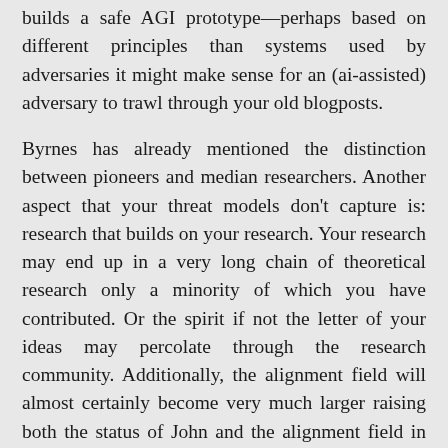builds a safe AGI prototype—perhaps based on different principles than systems used by adversaries it might make sense for an (ai-assisted) adversary to trawl through your old blogposts.
Byrnes has already mentioned the distinction between pioneers and median researchers. Another aspect that your threat models don't capture is: research that builds on your research. Your research may end up in a very long chain of theoretical research only a minority of which you have contributed. Or the spirit if not the letter of your ideas may percolate through the research community. Additionally, the alignment field will almost certainly become very much larger raising both the status of John and the alignment field in general. Over longer timescales I expect percolation to be quite strong.